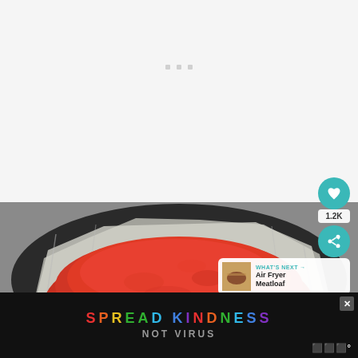[Figure (other): White/light gray loading placeholder area with three small gray dots in the center]
[Figure (photo): Close-up photo of a raw meatloaf coated in tomato sauce/ketchup, placed in a foil-lined black cast iron skillet]
1.2K
WHAT'S NEXT → Air Fryer Meatloaf
[Figure (other): Advertisement banner: SPREAD KINDNESS NOT VIRUS in colorful letters on black background]